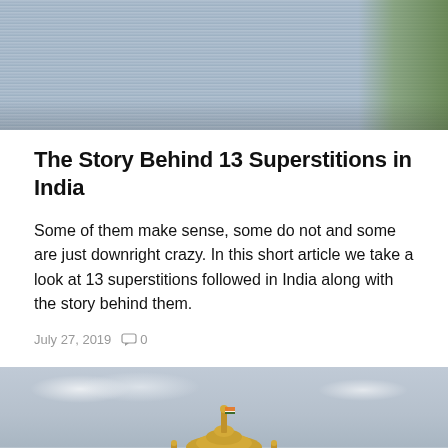[Figure (photo): Top portion of a photo showing striped fabric/textile with flowers visible on the right side]
The Story Behind 13 Superstitions in India
Some of them make sense, some do not and some are just downright crazy. In this short article we take a look at 13 superstitions followed in India along with the story behind them.
July 27, 2019   0
[Figure (photo): Photo of a golden domed building (Indian architecture, likely Vidhana Soudha or similar) against a cloudy sky]